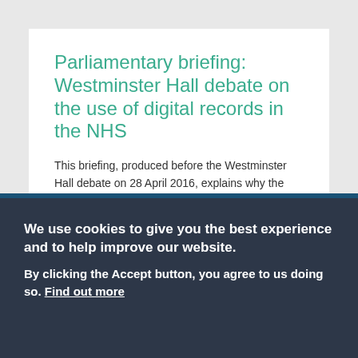Parliamentary briefing: Westminster Hall debate on the use of digital records in the NHS
This briefing, produced before the Westminster Hall debate on 28 April 2016, explains why the RCP believes that digital patient records will benefit the NHS.
We use cookies to give you the best experience and to help improve our website.
By clicking the Accept button, you agree to us doing so. Find out more